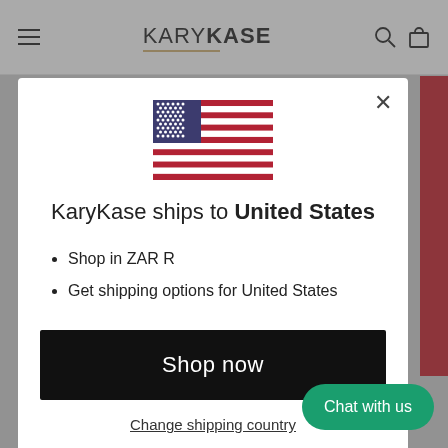KARYKASE
[Figure (illustration): US flag emoji]
KaryKase ships to United States
Shop in ZAR R
Get shipping options for United States
Shop now
Change shipping country
Chat with us
Be the first to review this item